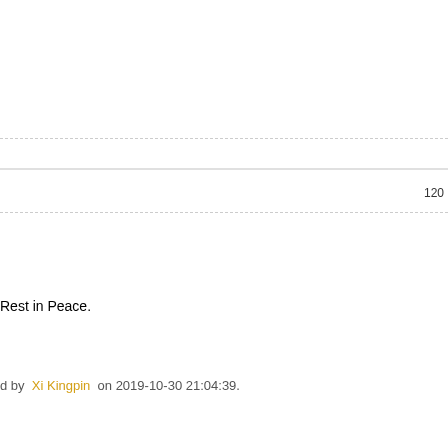120
Rest in Peace.
d by  Xi Kingpin  on 2019-10-30 21:04:39.